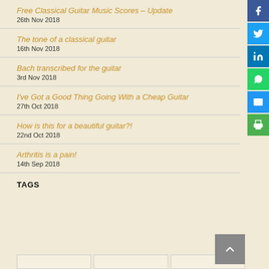Free Classical Guitar Music Scores – Update
26th Nov 2018
The tone of a classical guitar
16th Nov 2018
Bach transcribed for the guitar
3rd Nov 2018
I've Got a Good Thing Going With a Cheap Guitar
27th Oct 2018
How is this for a beautiful guitar?!
22nd Oct 2018
Arthritis is a pain!
14th Sep 2018
TAGS